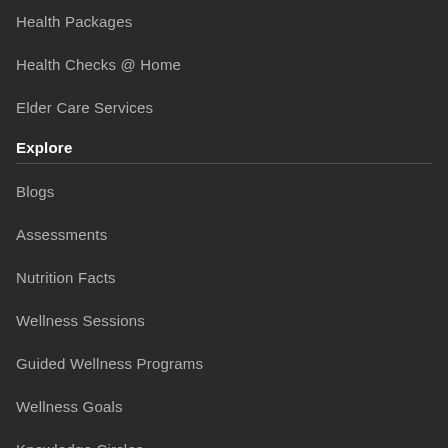Health Packages
Health Checks @ Home
Elder Care Services
Explore
Blogs
Assessments
Nutrition Facts
Wellness Sessions
Guided Wellness Programs
Wellness Goals
Knowledge Circles